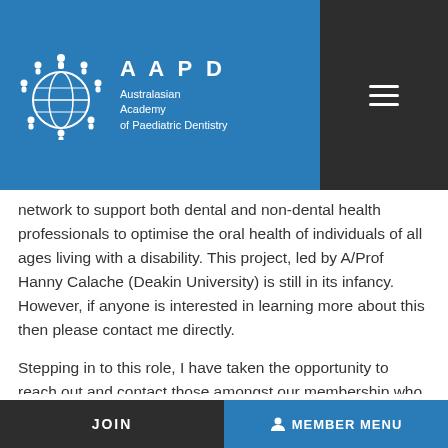AAPD — Australasian Academy of Paediatric Dentistry
network to support both dental and non-dental health professionals to optimise the oral health of individuals of all ages living with a disability. This project, led by A/Prof Hanny Calache (Deakin University) is still in its infancy. However, if anyone is interested in learning more about this then please contact me directly.

Stepping in to this role, I have taken the opportunity to reach out and contact those amongst our membership who are involved in the teaching and training of paediatric dentistry at all levels in our universities. I think it is safe to say that the pandemic has hit…
JOIN   MEMBER MENU